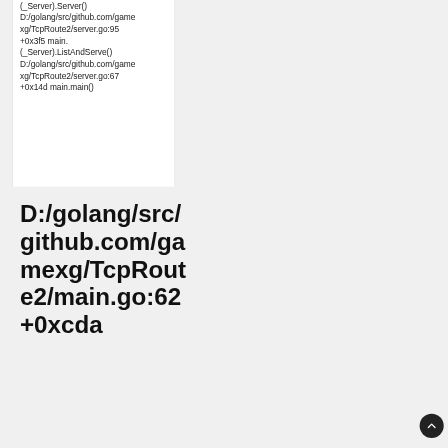(_Server).Server()
D:/golang/src/github.com/gamexg/TcpRoute2/server.go:95
+0x3f5 main.(_Server).ListAndServe()
D:/golang/src/github.com/gamexg/TcpRoute2/server.go:67
+0x14d main.main()
D:/golang/src/github.com/gamexg/TcpRoute2/main.go:62 +0xcda
opened by GameXG 💬 1